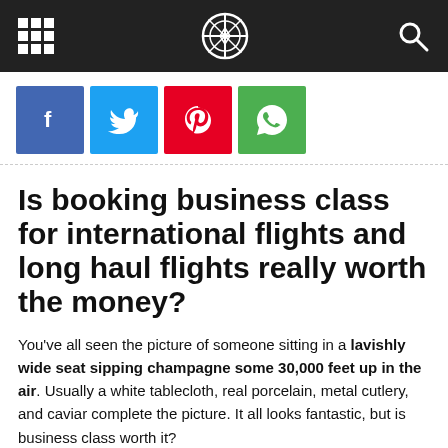[navigation bar with grid icon, compass logo, search icon]
[Figure (other): Social share buttons: Facebook (blue), Twitter (cyan), Pinterest (red), WhatsApp (green)]
Is booking business class for international flights and long haul flights really worth the money?
You've all seen the picture of someone sitting in a lavishly wide seat sipping champagne some 30,000 feet up in the air. Usually a white tablecloth, real porcelain, metal cutlery, and caviar complete the picture. It all looks fantastic, but is business class worth it?
I had the privilege of flying on renowned carriers like Qatar,